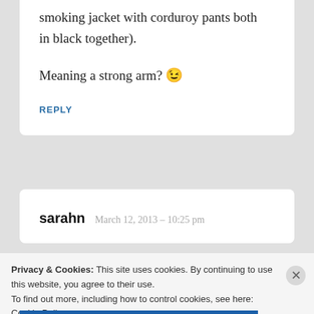smoking jacket with corduroy pants both in black together).
Meaning a strong arm? 😉
REPLY
sarahn  March 12, 2013 – 10:25 pm
Privacy & Cookies: This site uses cookies. By continuing to use this website, you agree to their use.
To find out more, including how to control cookies, see here: Cookie Policy